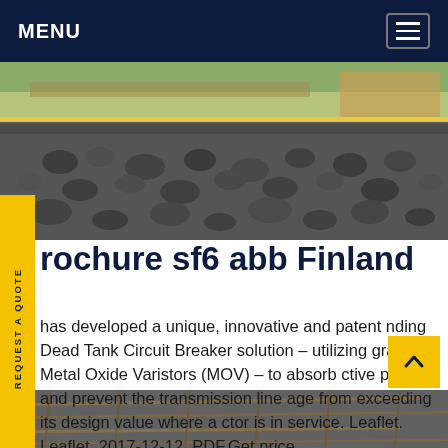MENU
[Figure (photo): Outdoor construction site showing piles of rocks/gravel and stacked materials with yellow barriers along a roadway]
rochure sf6 abb Finland
has developed a unique, innovative and patent nding Dead Tank Circuit Breaker solution - utilizing grated Metal Oxide Varistors (MOV) - to absorb ctive power and prevent the transmission line age from exceeding its design value where a ctor is in service. Leaflet. Leaflet. 2017-12-12. PDF.Get price
[Figure (photo): Construction scaffolding or rebar structure viewed from below]